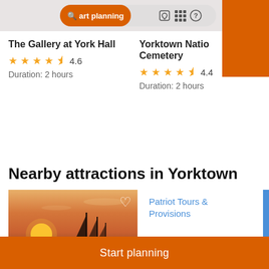Start planning  activities
The Gallery at York Hall
★★★★½ 4.6
Duration: 2 hours
Yorktown National Cemetery
★★★★½ 4.4
Duration: 2 hours
Nearby attractions in Yorktown
[Figure (photo): Sunset sailing scene with a tall ship silhouette against an orange sky, with a heart/favorite icon overlay]
Patriot Tours & Provisions
Start planning